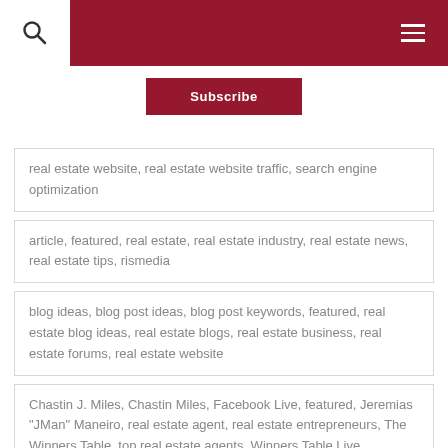Subscribe
real estate website, real estate website traffic, search engine optimization
article, featured, real estate, real estate industry, real estate news, real estate tips, rismedia
blog ideas, blog post ideas, blog post keywords, featured, real estate blog ideas, real estate blogs, real estate business, real estate forums, real estate website
Chastin J. Miles, Chastin Miles, Facebook Live, featured, Jeremias "JMan" Maneiro, real estate agent, real estate entrepreneurs, The Winners Table, top real estate agents, Winners Table Live
Christopher Kai, Elon Musk, featured, networking mistakes, networking strategies, networking webinar, real estate, real